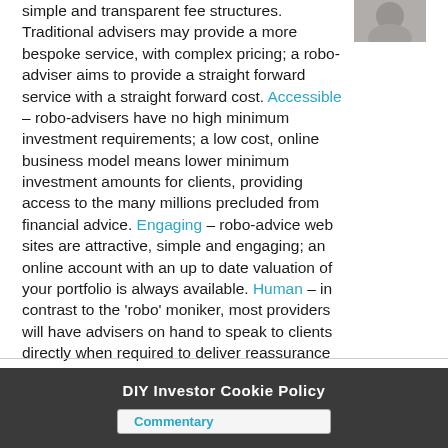simple and transparent fee structures. Traditional advisers may provide a more bespoke service, with complex pricing; a robo-adviser aims to provide a straight forward service with a straight forward cost. Accessible – robo-advisers have no high minimum investment requirements; a low cost, online business model means lower minimum investment amounts for clients, providing access to the many millions precluded from financial advice. Engaging – robo-advice web sites are attractive, simple and engaging; an online account with an up to date valuation of your portfolio is always available. Human – in contrast to the 'robo' moniker, most providers will have advisers on hand to speak to clients directly when required to deliver reassurance or guidance. Human interaction can be by telephone or webchat so the client experience is unlikely to be purely online; platforms provide as much or as little direct contact as is required because even robo-advised investors are individuals.
[Figure (photo): A small grayscale/toned photo of a person, partially visible, top-right corner of the text area.]
DIY Investor Cookie Policy
Commentary